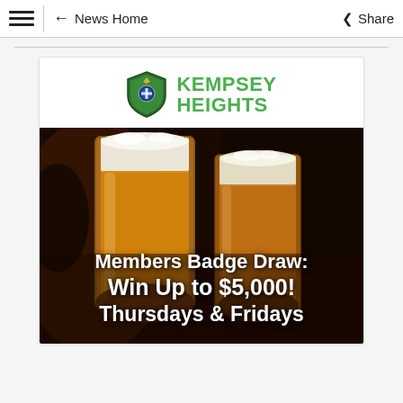≡  ← News Home  Share
[Figure (logo): Kempsey Heights logo with shield emblem and green text]
[Figure (photo): Beer glasses being raised in a toast, with overlay text: Members Badge Draw: Win Up to $5,000! Thursdays & Fridays]